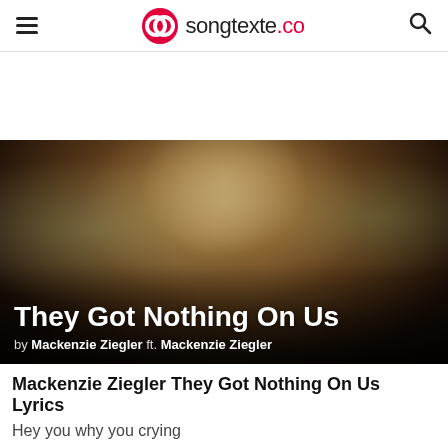songtexte.co
[Figure (photo): Blurred photo of a young woman with long brown hair serving as a hero banner background]
They Got Nothing On Us
by Mackenzie Ziegler ft. Mackenzie Ziegler
Mackenzie Ziegler They Got Nothing On Us Lyrics
Hey you why you crying